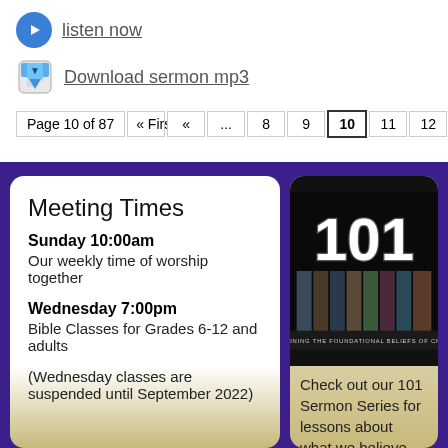listen now
Download sermon mp3
Page 10 of 87  « First  «  ...  8  9  10  11  12  ...  20  3...
Meeting Times
Sunday 10:00am
Our weekly time of worship together
Wednesday 7:00pm
Bible Classes for Grades 6-12 and adults
(Wednesday classes are suspended until September 2022)
[Figure (photo): 101 Sermon Series book/DVD collection image with text 'Examining the Foundational Beliefs of Christ']
Check out our 101 Sermon Series for lessons about what we believe are some of the central beliefs at the core of Christianity.